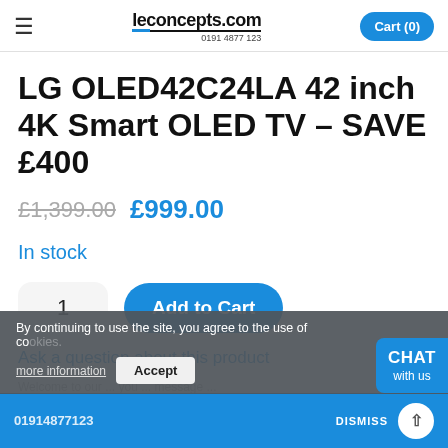leconcepts.com 0191 4877 123 Cart (0)
LG OLED42C24LA 42 inch 4K Smart OLED TV – SAVE £400
£1,399.00 £999.00
In stock
1 Add to Cart
Ask a question about this product
Welcome to our ...
By continuing to use the site, you agree to the use of cookies. more information Accept
01914877123 DISMISS